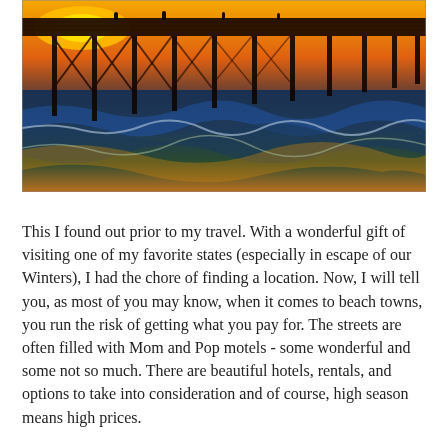[Figure (photo): Sunset photo of a beach pier with crashing ocean waves. The silhouette of a long wooden pier stretches across the image against a vivid orange and yellow sunset sky. The water in the foreground shows breaking waves with blue, gold, and deep teal tones.]
This I found out prior to my travel.  With a wonderful gift of visiting one of my favorite states (especially in escape of our Winters), I had the chore of finding a location.  Now, I will tell you, as most of you may know, when it comes to beach towns, you run the risk of getting what you pay for.  The streets are often filled with Mom and Pop motels - some wonderful and some not so much.  There are beautiful hotels, rentals, and options to take into consideration and of course, high season means high prices.
This trip was quite a planning experience for me.  We had the dates, we knew we were not renting a vehicle so we needed to be within walking distance to stores, and we would like a pool or at least to be